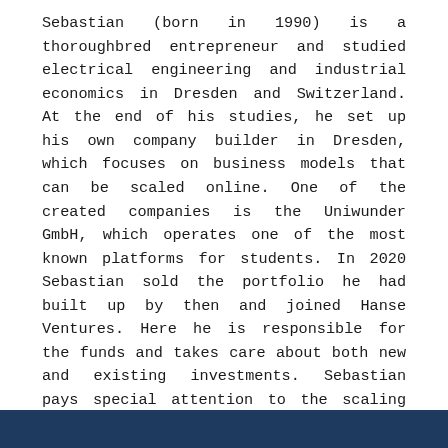Sebastian (born in 1990) is a thoroughbred entrepreneur and studied electrical engineering and industrial economics in Dresden and Switzerland. At the end of his studies, he set up his own company builder in Dresden, which focuses on business models that can be scaled online. One of the created companies is the Uniwunder GmbH, which operates one of the most known platforms for students. In 2020 Sebastian sold the portfolio he had built up by then and joined Hanse Ventures. Here he is responsible for the funds and takes care about both new and existing investments. Sebastian pays special attention to the scaling strategy and provides support in strategic and also very practical operational issues.